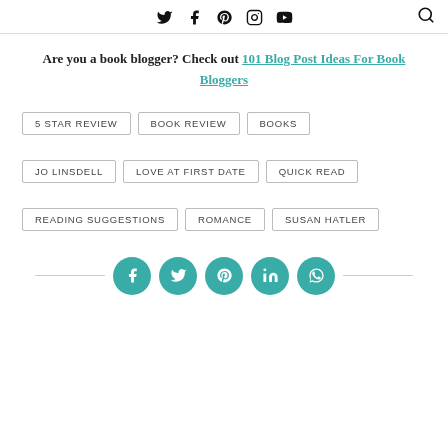Social icons navigation: Twitter, Facebook, Pinterest, Instagram, YouTube, Search
Are you a book blogger? Check out 101 Blog Post Ideas For Book Bloggers
5 STAR REVIEW
BOOK REVIEW
BOOKS
JO LINSDELL
LOVE AT FIRST DATE
QUICK READ
READING SUGGESTIONS
ROMANCE
SUSAN HATLER
[Figure (infographic): Social share buttons row with Facebook, Twitter, Pinterest, LinkedIn, WhatsApp icons on teal circles, flanked by horizontal lines]